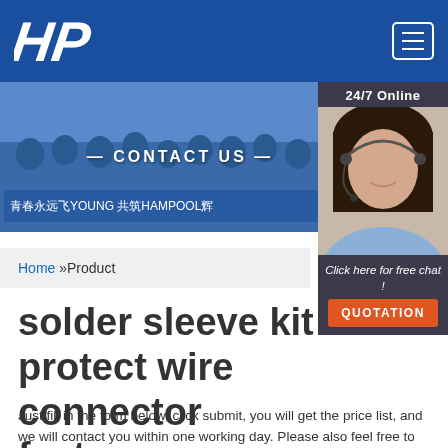[Figure (logo): HP logo - white italic stylized letters HP on blue background]
[Figure (photo): Hero banner showing group of people outdoors with text CONTACT US and Chinese text 青春永远飞YOUNG 共筑HAMPOOL辉]
[Figure (photo): Sidebar showing customer service agent wearing headset with 24/7 Online text, Click here for free chat!, and QUOTATION button]
Home »Product
solder sleeve kit protect wire connector factory
Just fill in the form below, click submit, you will get the price list, and we will contact you within one working day. Please also feel free to contact you via email or phone. (*